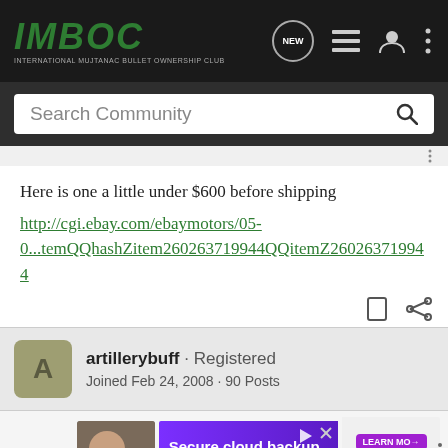IMBOC - INTERNATIONAL MUJTANAC BULLET OWNERSHIP CLUB
Search Community
Here is one a little under $600 before shipping
http://cgi.ebay.com/ebaymotors/05-0...temQQhashZitem260263719944QQitemZ260263719944
artillerybuff · Registered
Joined Feb 24, 2008 · 90 Posts
#16 · Jul
[Figure (screenshot): Advertisement banner: Secure cloud backup. Mobile accessible. Carbonite Backup + Restore. Learn More button.]